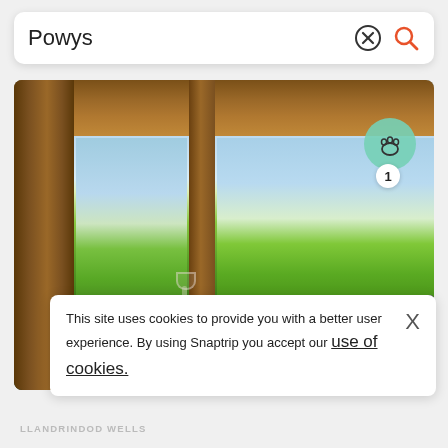Powys
[Figure (photo): Interior view of a wooden-framed cabin or lodge looking out through large windows onto a sunny green countryside landscape with fields and trees. In the foreground is a dark hot tub or sofa with a champagne glass visible. A pet-friendly map marker icon with number 1 is overlaid on the photo.]
This site uses cookies to provide you with a better user experience. By using Snaptrip you accept our use of cookies.
LLANDRINDOD WELLS